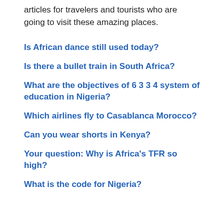articles for travelers and tourists who are going to visit these amazing places.
Is African dance still used today?
Is there a bullet train in South Africa?
What are the objectives of 6 3 3 4 system of education in Nigeria?
Which airlines fly to Casablanca Morocco?
Can you wear shorts in Kenya?
Your question: Why is Africa's TFR so high?
What is the code for Nigeria?